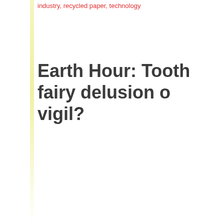industry, recycled paper, technology
Earth Hour: Tooth fairy delusion or vigil?